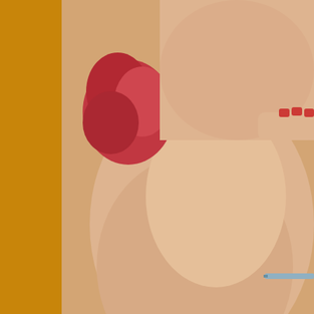[Figure (photo): Close-up photo of a person's neck/chin area with a red flower, hands with red nail polish visible, and what appears to be a pencil or rod. Warm orange-beige tones.]
Leota Toombs puts some finishing m
When he first began working on the project, Marc Davis had his attraction. "I thought, none of this is 'Disney'," he once told Ran "When I started reading everything I could find on pirates, I fou battles like we'd always heard. Most of them lost their lives by v